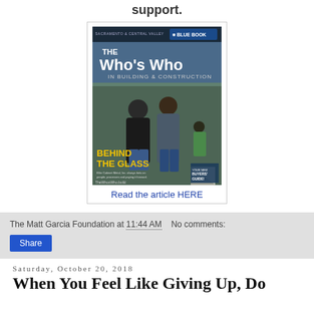support.
[Figure (photo): Magazine cover of 'The Who's Who in Building & Construction' Blue Book, Sacramento & Central Valley edition, featuring two men standing in a warehouse with text 'Behind the Glass']
Read the article HERE
The Matt Garcia Foundation at 11:44 AM    No comments:
Share
Saturday, October 20, 2018
When You Feel Like Giving Up, Do